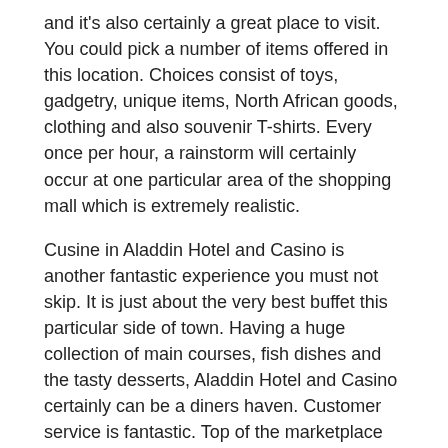and it's also certainly a great place to visit. You could pick a number of items offered in this location. Choices consist of toys, gadgetry, unique items, North African goods, clothing and also souvenir T-shirts. Every once per hour, a rainstorm will certainly occur at one particular area of the shopping mall which is extremely realistic.
Cusine in Aladdin Hotel and Casino is another fantastic experience you must not skip. It is just about the very best buffet this particular side of town. Having a huge collection of main courses, fish dishes and the tasty desserts, Aladdin Hotel and Casino certainly can be a diners haven. Customer service is fantastic. Top of the marketplace environment of the classy Aladdin Hotel and Casino is definitely well-maintained. The dining location is very clean and the cost of the buffet around $18 for dinner is certainly affordable considering the number of delicious options readily available for your eating pleasures. One more great eating place to go to in Aladdin Hotel and Casino is the food court. Coffee shops, pizzas, burger and also hot dog concessions are plentiful in this area.
The Aladdin Hotel and Casino gaming area is definitely the most exceptional attribute of the place. Slot machines are certainly not cramped which give sufficient room for gamers movement. Customer service as well as cocktail service is very fast even when you happen to be having fun with the nickel machines only. Aladdin Hotel and Casino offers the supreme shopping, dining and entertainment